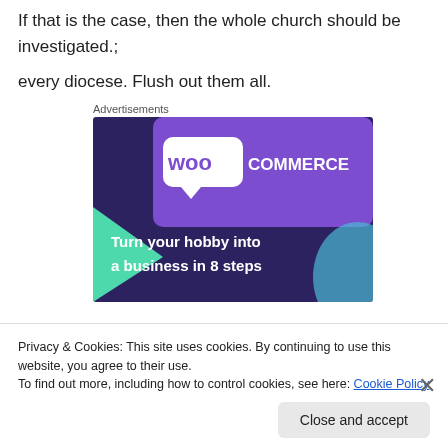If that is the case, then the whole church should be investigated.;
every diocese. Flush out them all.
Advertisements
[Figure (illustration): WooCommerce advertisement banner with purple/dark blue background, teal accent shape, light blue shape, WooCommerce logo at top, and text 'Turn your hobby into a business in 8 steps']
Privacy & Cookies: This site uses cookies. By continuing to use this website, you agree to their use.
To find out more, including how to control cookies, see here: Cookie Policy
Close and accept